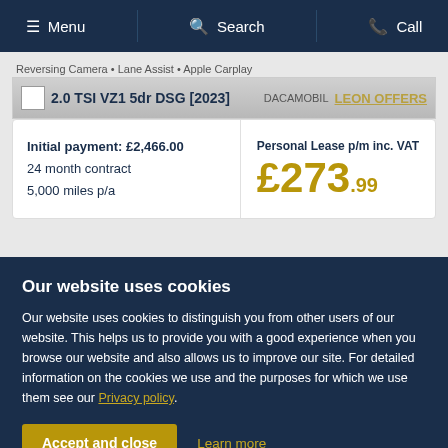Menu  Search  Call
Reversing Camera • Lane Assist • Apple Carplay
2.0 TSI VZ1 5dr DSG [2023]
DACAMOBIL LEON OFFERS
Initial payment: £2,466.00
24 month contract
5,000 miles p/a
Personal Lease p/m inc. VAT £273.99
Our website uses cookies
Our website uses cookies to distinguish you from other users of our website. This helps us to provide you with a good experience when you browse our website and also allows us to improve our site. For detailed information on the cookies we use and the purposes for which we use them see our Privacy policy.
Accept and close    Learn more